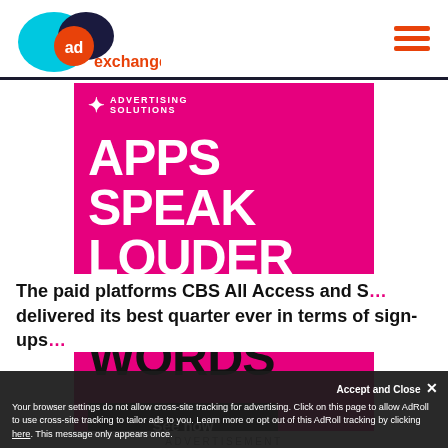[Figure (logo): AdExchanger logo with cyan and dark blue overlapping ovals and orange 'ad' circle, with 'exchanger' text in orange below]
[Figure (illustration): T-Mobile Advertising Solutions banner ad on magenta background. T logo with 'ADVERTISING SOLUTIONS' text. Large white text reads 'APPS SPEAK LOUDER' and black text 'THAN WORDS'. Black 'See how' button.]
ADVERTISEMENT
The paid platforms CBS All Access and S... delivered its best quarter ever in terms of sign-ups...
Your browser settings do not allow cross-site tracking for advertising. Click on this page to allow AdRoll to use cross-site tracking to tailor ads to you. Learn more or opt out of this AdRoll tracking by clicking here. This message only appears once.